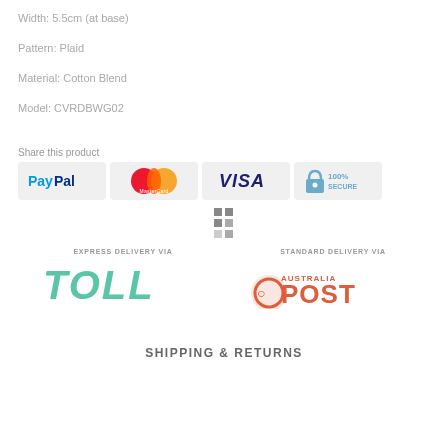Width: 5.5cm (at base)
Pattern: Plaid
Material: Cotton Blend
Model: CVRDBWG02
Share this product
[Figure (logo): PayPal payment logo badge]
[Figure (logo): MasterCard payment logo badge]
[Figure (logo): VISA payment logo badge]
[Figure (logo): 100% Secure badge with padlock icon]
[Figure (logo): Express delivery via Toll logo]
[Figure (logo): Standard delivery via Australia Post logo]
SHIPPING & RETURNS